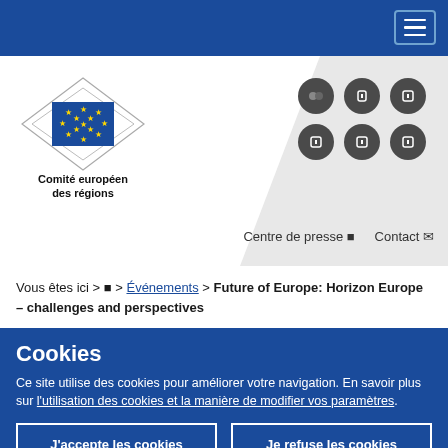[Figure (logo): EU Committee of the Regions logo with EU flag emblem and text 'Comité européen des régions']
[Figure (infographic): Grid of 6 social media icons (dark circular buttons) representing Flickr, and other social platforms]
Centre de presse  Contact
Vous êtes ici > 🏠 > Événements > Future of Europe: Horizon Europe – challenges and perspectives
Cookies
Ce site utilise des cookies pour améliorer votre navigation. En savoir plus sur l'utilisation des cookies et la manière de modifier vos paramètres.
J'accepte les cookies
Je refuse les cookies